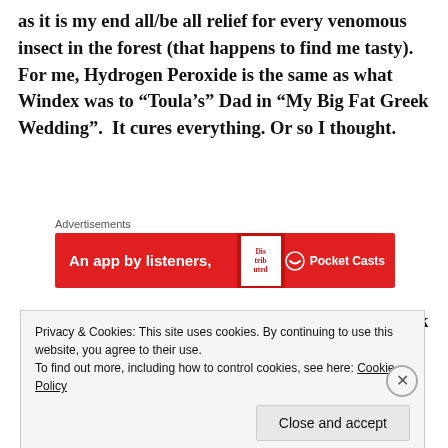as it is my end all/be all relief for every venomous insect in the forest (that happens to find me tasty). For me, Hydrogen Peroxide is the same as what Windex was to “Toula’s” Dad in “My Big Fat Greek Wedding”.  It cures everything. Or so I thought.
[Figure (other): Advertisement banner for Pocket Casts app with red background, showing 'An app by listeners,' text and a book graphic, with Pocket Casts logo]
Fast-forward three or so hours and Lee, whose desk sits behind mine in our living room office, asked
Privacy & Cookies: This site uses cookies. By continuing to use this website, you agree to their use.
To find out more, including how to control cookies, see here: Cookie Policy
Close and accept